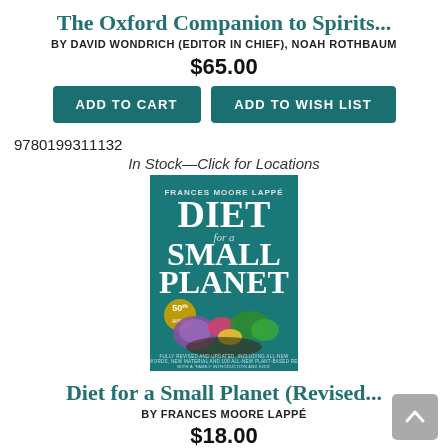The Oxford Companion to Spirits...
BY DAVID WONDRICH (EDITOR IN CHIEF), NOAH ROTHBAUM
$65.00
ADD TO CART
ADD TO WISH LIST
9780199311132
In Stock—Click for Locations
[Figure (photo): Book cover of 'Diet for a Small Planet' by Frances Moore Lappé, 50th anniversary edition, teal background with vegetables]
Diet for a Small Planet (Revised...
BY FRANCES MOORE LAPPÉ
$18.00
ADD TO CART
ADD TO WISH LIST